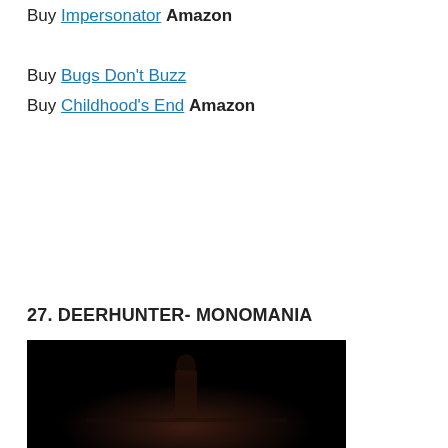Buy Impersonator Amazon
Buy Bugs Don't Buzz
Buy Childhood's End Amazon
27. DEERHUNTER- MONOMANIA
[Figure (photo): Dark album cover image for Deerhunter - Monomania, showing a dimly lit figure]